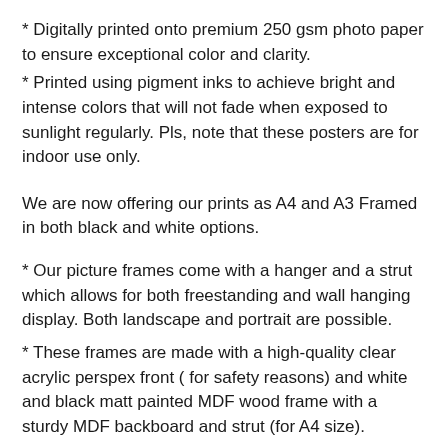* Digitally printed onto premium 250 gsm photo paper to ensure exceptional color and clarity.
* Printed using pigment inks to achieve bright and intense colors that will not fade when exposed to sunlight regularly. Pls, note that these posters are for indoor use only.
We are now offering our prints as A4 and A3 Framed in both black and white options.
* Our picture frames come with a hanger and a strut which allows for both freestanding and wall hanging display. Both landscape and portrait are possible.
* These frames are made with a high-quality clear acrylic perspex front ( for safety reasons) and white and black matt painted MDF wood frame with a sturdy MDF backboard and strut (for A4 size).
* Metal hangers are included on A4 and A3.
* Each complete frame has a molding width and depth of 18